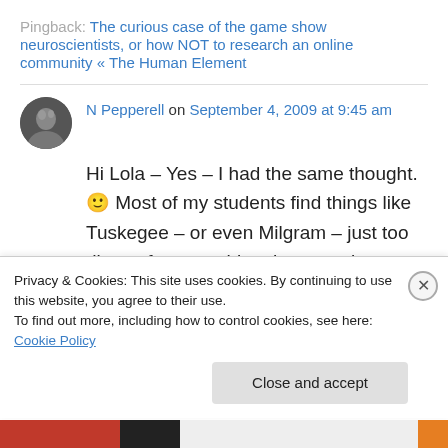Pingback: The curious case of the game show neuroscientists, or how NOT to research an online community « The Human Element
N Pepperell on September 4, 2009 at 9:45 am
Hi Lola – Yes – I had the same thought. 🙂 Most of my students find things like Tuskegee – or even Milgram – just too distant from anything that can picture themselves doing. Whereas I suspect many of them could more easily
Privacy & Cookies: This site uses cookies. By continuing to use this website, you agree to their use.
To find out more, including how to control cookies, see here: Cookie Policy